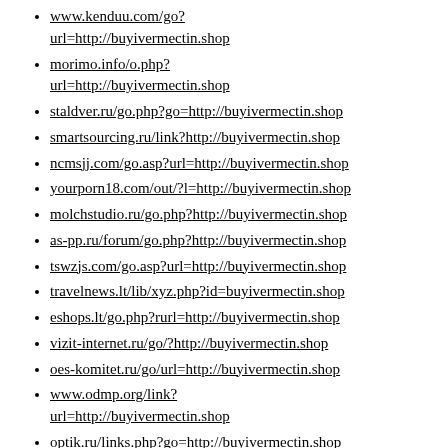www.kenduu.com/go?url=http://buyivermectin.shop
morimo.info/o.php?url=http://buyivermectin.shop
staldver.ru/go.php?go=http://buyivermectin.shop
smartsourcing.ru/link?http://buyivermectin.shop
ncmsjj.com/go.asp?url=http://buyivermectin.shop
yourporn18.com/out/?l=http://buyivermectin.shop
molchstudio.ru/go.php?http://buyivermectin.shop
as-pp.ru/forum/go.php?http://buyivermectin.shop
tswzjs.com/go.asp?url=http://buyivermectin.shop
travelnews.lt/lib/xyz.php?id=buyivermectin.shop
eshops.lt/go.php?rurl=http://buyivermectin.shop
vizit-internet.ru/go/?http://buyivermectin.shop
oes-komitet.ru/go/url=http://buyivermectin.shop
www.odmp.org/link?url=http://buyivermectin.shop
optik.ru/links.php?go=http://buyivermectin.shop
www.edu-ing.cn/go.php?